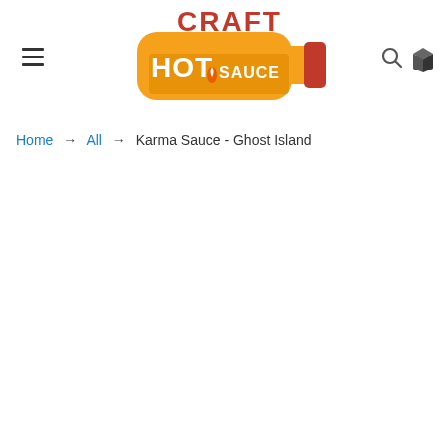[Figure (logo): Craft Hot Sauce logo: an orange hot sauce bottle shape with 'CRAFT' in red block letters on top and 'HOT SAUCE' in white on an orange label with a red cap and flame icon]
Home → All → Karma Sauce - Ghost Island